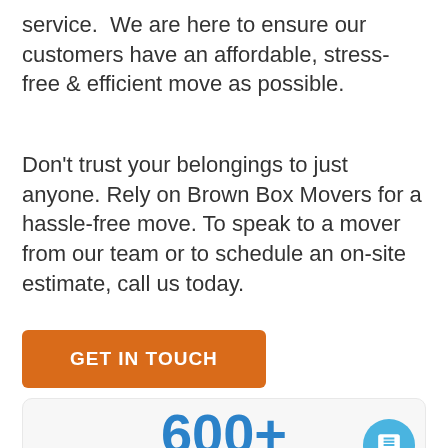service.  We are here to ensure our customers have an affordable, stress-free & efficient move as possible.
Don't trust your belongings to just anyone. Rely on Brown Box Movers for a hassle-free move. To speak to a mover from our team or to schedule an on-site estimate, call us today.
GET IN TOUCH
[Figure (other): A light grey card section showing '600+' in large bold blue text, with a blue circular chat button overlay in the bottom right]